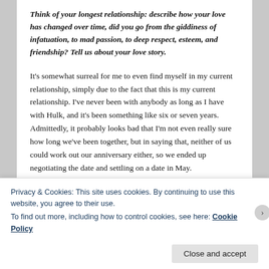Think of your longest relationship: describe how your love has changed over time, did you go from the giddiness of infatuation, to mad passion, to deep respect, esteem, and friendship? Tell us about your love story.
It's somewhat surreal for me to even find myself in my current relationship, simply due to the fact that this is my current relationship. I've never been with anybody as long as I have with Hulk, and it's been something like six or seven years. Admittedly, it probably looks bad that I'm not even really sure how long we've been together, but in saying that, neither of us could work out our anniversary either, so we ended up negotiating the date and settling on a date in May.
Privacy & Cookies: This site uses cookies. By continuing to use this website, you agree to their use.
To find out more, including how to control cookies, see here: Cookie Policy